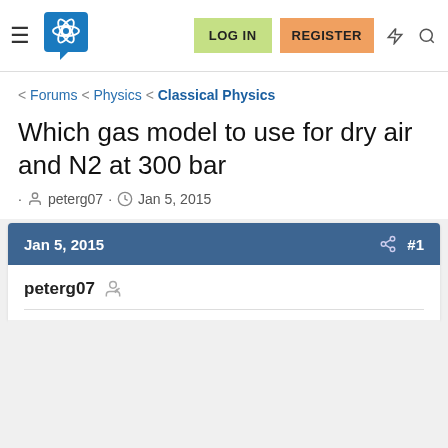LOG IN | REGISTER
Forums < Physics < Classical Physics
Which gas model to use for dry air and N2 at 300 bar
· peterg07 · Jan 5, 2015
Jan 5, 2015  #1
peterg07